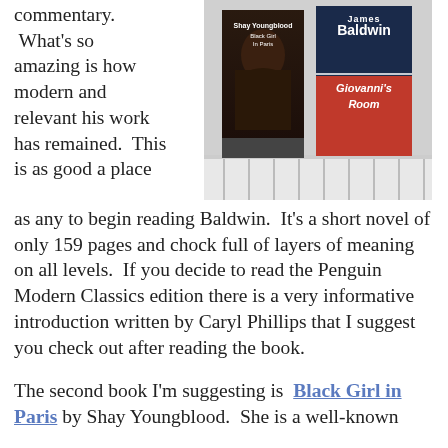commentary.  What's so amazing is how modern and relevant his work has remained.  This is as good a place as any to begin reading Baldwin.  It's a short novel of only 159 pages and chock full of layers of meaning on all levels.  If you decide to read the Penguin Modern Classics edition there is a very informative introduction written by Caryl Phillips that I suggest you check out after reading the book.
[Figure (photo): Two book covers on a shelf: 'Black Girl in Paris' by Shay Youngblood and 'Giovanni's Room' by James Baldwin]
The second book I'm suggesting is Black Girl in Paris by Shay Youngblood.  She is a well-known